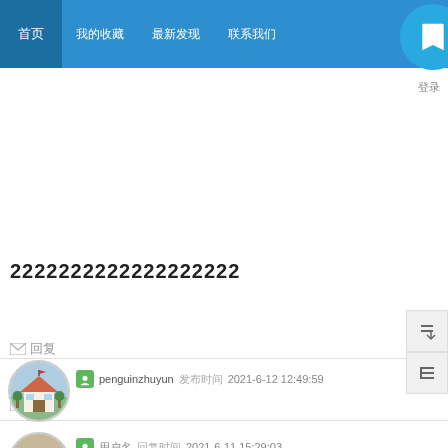首页  我的收藏  最新发现  联系我们
登录
回复
图标 用户名 回复时间 2021-6-11 15:29:03
2222222222222222222
回复
penguinzhuyun 用户名 发布时间 2021-6-12 12:49:59